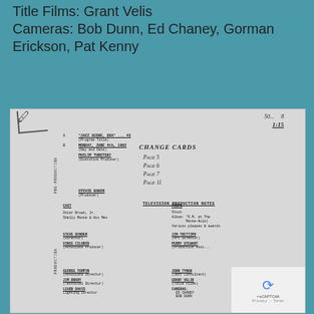Title Films: Grant Velis
Cameras: Bob Dunn, Ed Chaney, Gorman Erickson, Pat Kenny
[Figure (photo): Scanned document page showing a Television Production Notes sheet for 'Jazz Scene, USA' #3, dated Monday, June 4th, 1962. Lists cast (Oscar Brown Jr., Shelly Manne & His Men), crew (Steve Binder Director, Vince Cilurzo Associate Producer, George Turpin Associate Director, Jim Brady Technical Director, Leard Davis Lighting Director), props (Stool, Album: 'S.M. at The Manne-Hole', Various plaques & awards), and right column crew (Jim Trittipo Art Director, Perry Stewart Production Assistant, John Tynan Jazz Consultant, Grant Velis Title Films, Cameras: Ed Chaney, Bob Dunn). Handwritten annotations: 'CHANGE CARDS', 'Page 5', 'Page 6', 'Page 7', 'Page 11', and a score '1:15:8' at top right.]